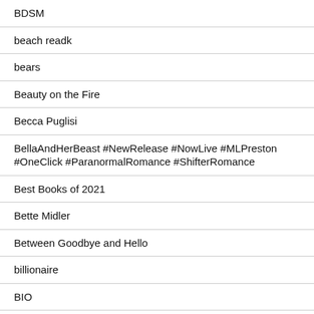BDSM
beach readk
bears
Beauty on the Fire
Becca Puglisi
BellaAndHerBeast #NewRelease #NowLive #MLPreston #OneClick #ParanormalRomance #ShifterRomance
Best Books of 2021
Bette Midler
Between Goodbye and Hello
billionaire
BIO
Biographers International
biographies